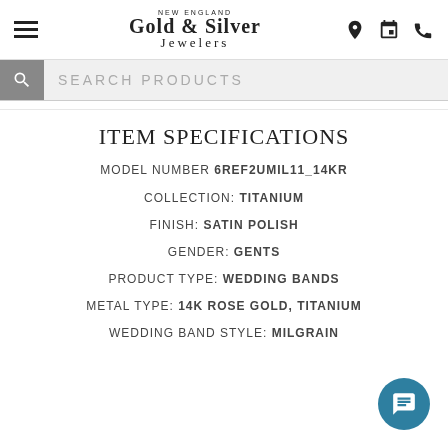New England Gold & Silver Jewelers
ITEM SPECIFICATIONS
MODEL NUMBER 6REF2UMIL11_14KR
COLLECTION: TITANIUM
FINISH: SATIN POLISH
GENDER: GENTS
PRODUCT TYPE: WEDDING BANDS
METAL TYPE: 14K ROSE GOLD, TITANIUM
WEDDING BAND STYLE: MILGRAIN